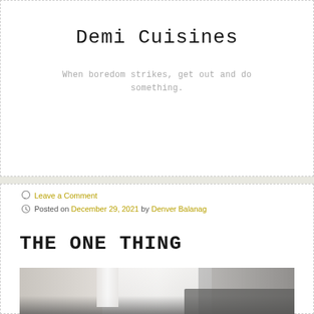Demi Cuisines
When boredom strikes, get out and do something.
≡  MENU
Leave a Comment
Posted on December 29, 2021 by Denver Balanag
THE ONE THING
[Figure (photo): A photo showing a light-colored room with a floor lamp or tall white object on the left, and a dark doorway or corner on the right, with dark flooring visible at the bottom.]